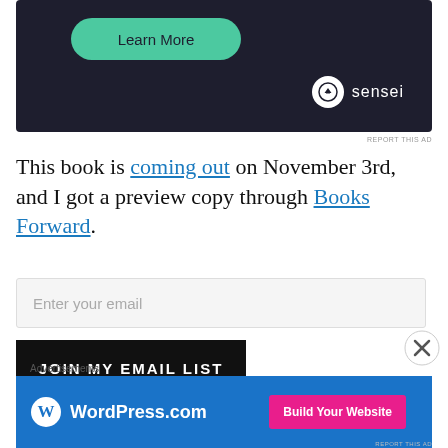[Figure (screenshot): Dark navy advertisement banner with a teal 'Learn More' rounded button and a 'sensei' logo with icon in the bottom-right corner]
REPORT THIS AD
This book is coming out on November 3rd, and I got a preview copy through Books Forward.
[Figure (screenshot): Email input field with placeholder text 'Enter your email']
[Figure (screenshot): Black button with white bold text 'JOIN MY EMAIL LIST']
By clicking submit, you agree to share your
Advertisements
[Figure (screenshot): WordPress.com advertisement banner in blue with 'Build Your Website' pink button]